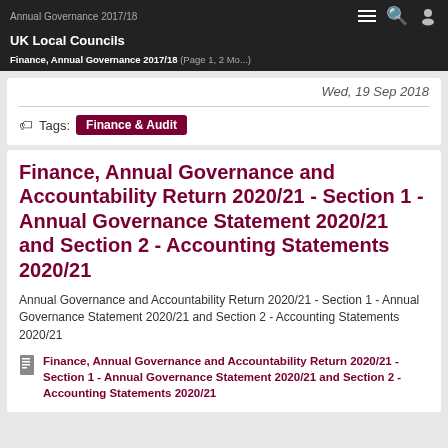Annual Governance 2017/18 | UK Local Councils
Finance, Annual Governance 2017/18 (Page 1, 2 Mo...)
Wed, 19 Sep 2018
Tags: Finance & Audit
Finance, Annual Governance and Accountability Return 2020/21 - Section 1 - Annual Governance Statement 2020/21 and Section 2 - Accounting Statements 2020/21
Annual Governance and Accountability Return 2020/21 - Section 1 - Annual Governance Statement 2020/21 and Section 2 - Accounting Statements 2020/21
Finance, Annual Governance and Accountability Return 2020/21 - Section 1 - Annual Governance Statement 2020/21 and Section 2 - Accounting Statements 2020/21